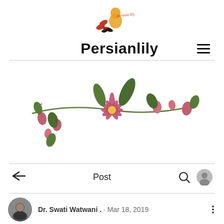[Figure (logo): Persianlily logo: orange silhouette of a woman with red and dark floral leaves, with cursive 'persian lily' text in orange-red]
Persianlily
[Figure (illustration): Botanical illustration of a flowering branch with pink rose buds and a central open pink star flower with green leaves on a white background]
Post
Dr. Swati Watwani . · Mar 18, 2019